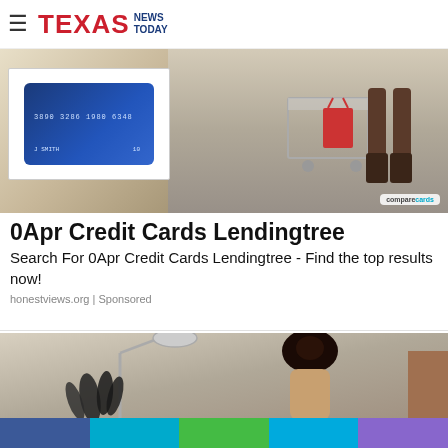TEXAS NEWS TODAY
[Figure (photo): Advertisement image showing a credit card (with number 3890 3286 1980 6348, name J SMITH) and a person with a shopping cart in background, with comparecards branding]
0Apr Credit Cards Lendingtree
Search For 0Apr Credit Cards Lendingtree - Find the top results now!
honestviews.org | Sponsored
[Figure (photo): Advertisement image showing a floor lamp and a woman with dark hair in a bun, with a brown box in background]